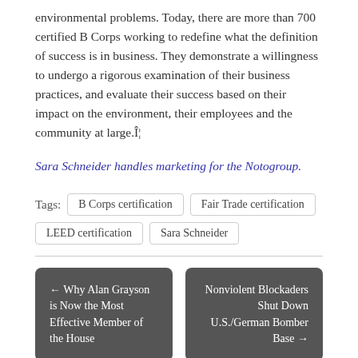environmental problems. Today, there are more than 700 certified B Corps working to redefine what the definition of success is in business. They demonstrate a willingness to undergo a rigorous examination of their business practices, and evaluate their success based on their impact on the environment, their employees and the community at large.Î¦
Sara Schneider handles marketing for the Notogroup.
Tags: B Corps certification | Fair Trade certification | LEED certification | Sara Schneider
← Why Alan Grayson is Now the Most Effective Member of the House
Nonviolent Blockaders Shut Down U.S./German Bomber Base →
Leave a Reply